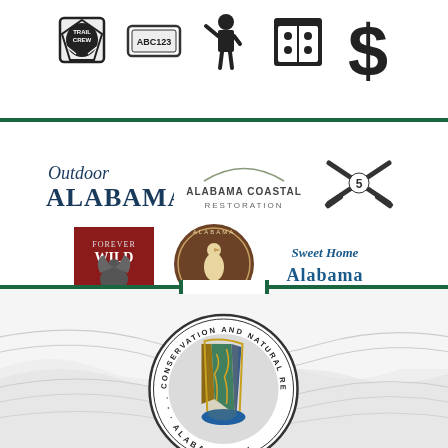[Figure (illustration): Row of five icons: Trail Crew badge, ABC123 license plate, military salute figure, calendar/scorecard, dollar sign]
[Figure (logo): Outdoor Alabama logo - serif text]
[Figure (logo): Alabama Coastal Restoration logo]
[Figure (logo): Rivers 5 crossed rifles logo]
[Figure (logo): Forever Wild red square logo]
[Figure (logo): Alabama Birding Trails circular brown logo]
[Figure (logo): Sweet Home Alabama logo]
[Figure (logo): Alabama Conservation and Natural Resources circular seal with state map]